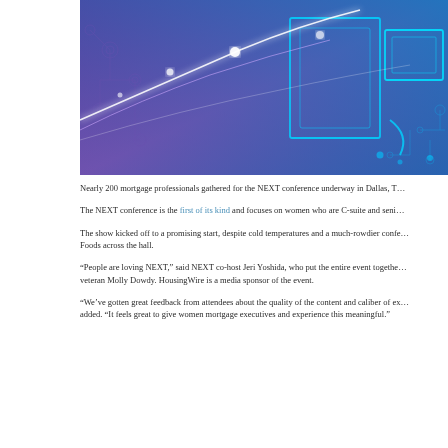[Figure (illustration): Abstract technology illustration with blue and purple circuit board patterns, glowing white light streaks, and cyan geometric rectangles on a purple-blue gradient background.]
Nearly 200 mortgage professionals gathered for the NEXT conference underway in Dallas, T...
The NEXT conference is the first of its kind and focuses on women who are C-suite and seni...
The show kicked off to a promising start, despite cold temperatures and a much-rowdier confe... Foods across the hall.
“People are loving NEXT,” said NEXT co-host Jeri Yoshida, who put the entire event togethe... veteran Molly Dowdy. HousingWire is a media sponsor of the event.
“We’ve gotten great feedback from attendees about the quality of the content and caliber of ex... added. “It feels great to give women mortgage executives and experience this meaningful.”